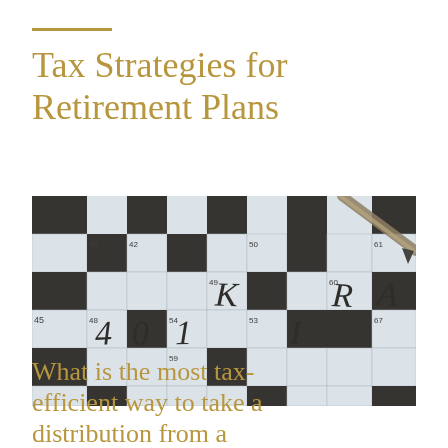Tax Strategies for Retirement Plans
[Figure (photo): Close-up of a crossword puzzle with the answers spelling out '401K' and 'IRA', with a pencil visible in the upper right corner. The crossword grid has numbered squares with dark and light cells.]
What is the most tax-efficient way to take a distribution from a retirement plan?